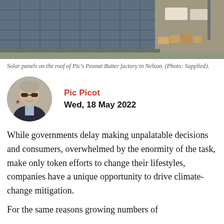[Figure (photo): Aerial view of solar panels on the roof of Pic's Peanut Butter factory in Nelson, with vehicles and freight visible in the background.]
Solar panels on the roof of Pic's Peanut Butter factory in Nelson. (Photo: Supplied).
[Figure (photo): Circular profile photo of Pic Picot, a man with grey hair and sunglasses, wearing a dark jacket with a red star badge, smiling.]
Pic Picot
Wed, 18 May 2022
While governments delay making unpalatable decisions and consumers, overwhelmed by the enormity of the task, make only token efforts to change their lifestyles, companies have a unique opportunity to drive climate-change mitigation.
For the same reasons growing numbers of